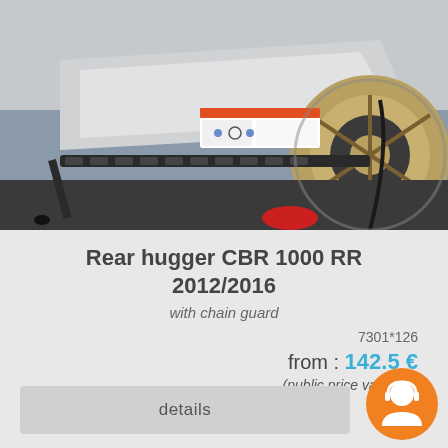[Figure (photo): Close-up photo of the rear swingarm area of a white Honda CBR 1000 RR motorcycle, showing chain, rear wheel with gold rim, a label/sticker on the swingarm, and brake components.]
Rear hugger CBR 1000 RR 2012/2016
with chain guard
7301*126
from : 142.5 €
(public price vat excl.)
details